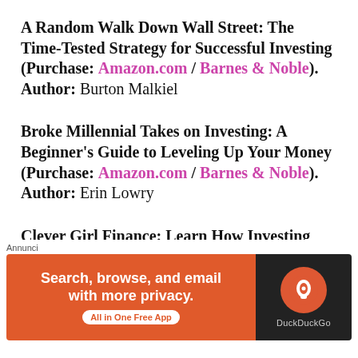A Random Walk Down Wall Street: The Time-Tested Strategy for Successful Investing (Purchase: Amazon.com / Barnes & Noble). Author: Burton Malkiel
Broke Millennial Takes on Investing: A Beginner's Guide to Leveling Up Your Money (Purchase: Amazon.com / Barnes & Noble). Author: Erin Lowry
Clever Girl Finance: Learn How Investing Works, Grow Your Money
[Figure (other): Advertisement banner for DuckDuckGo app: 'Search, browse, and email with more privacy. All in One Free App' on orange background with DuckDuckGo logo on dark background. Labeled 'Annunci'.]